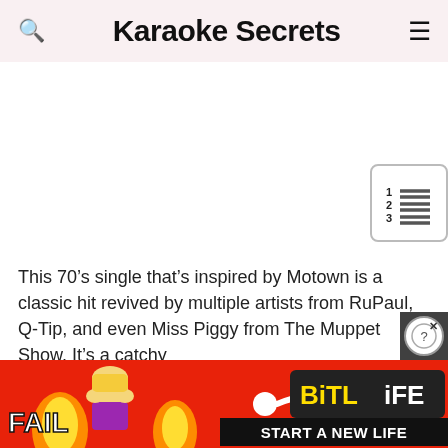Karaoke Secrets
[Figure (other): Empty white advertisement placeholder area with a table-of-contents icon button in the bottom right corner]
This 70’s single that’s inspired by Motown is a classic hit revived by multiple artists from RuPaul, Q-Tip, and even Miss Piggy from The Muppet Show. It’s a catchy
[Figure (other): BitLife mobile game advertisement banner at the bottom of the page showing animated characters, flames, the BitLife logo, and the text START A NEW LIFE on a red background, with a close button overlay]